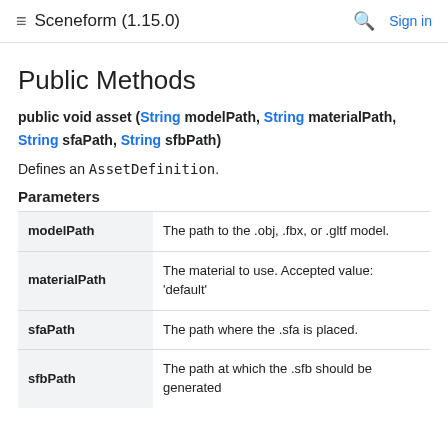Sceneform (1.15.0) Sign in
Public Methods
public void asset (String modelPath, String materialPath, String sfaPath, String sfbPath)
Defines an AssetDefinition.
Parameters
| Parameter | Description |
| --- | --- |
| modelPath | The path to the .obj, .fbx, or .gltf model. |
| materialPath | The material to use. Accepted value: 'default' |
| sfaPath | The path where the .sfa is placed. |
| sfbPath | The path at which the .sfb should be generated |